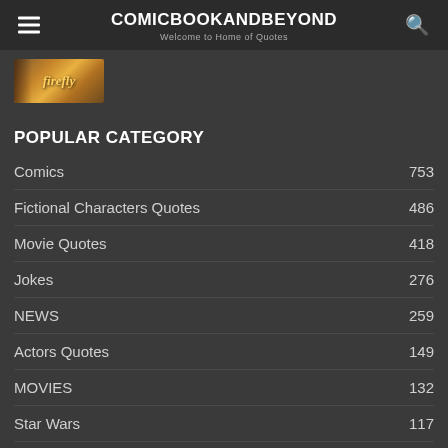COMICBOOKANDBEYOND — Welcome to Home of Quotes
[Figure (photo): Thumbnail image of Firefly TV show logo/cover art in warm orange and brown tones]
POPULAR CATEGORY
Comics 753
Fictional Characters Quotes 486
Movie Quotes 418
Jokes 276
NEWS 259
Actors Quotes 149
MOVIES 132
Star Wars 117
Writers Quotes 58